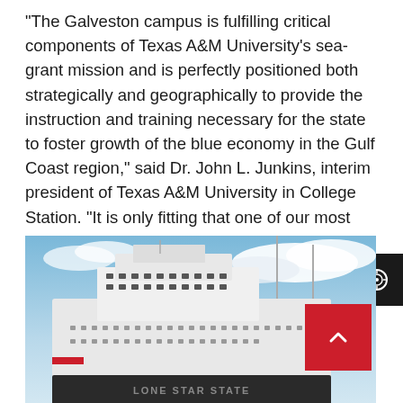“The Galveston campus is fulfilling critical components of Texas A&M University’s sea-grant mission and is perfectly positioned both strategically and geographically to provide the instruction and training necessary for the state to foster growth of the blue economy in the Gulf Coast region,” said Dr. John L. Junkins, interim president of Texas A&M University in College Station. “It is only fitting that one of our most visi[ble] assets prominently feature our state motto.”
[Figure (photo): A large white ship with the name 'LONE STAR STATE' visible on its hull, photographed from below against a partly cloudy blue sky. The vessel appears to be a training ship associated with Texas A&M University at Galveston.]